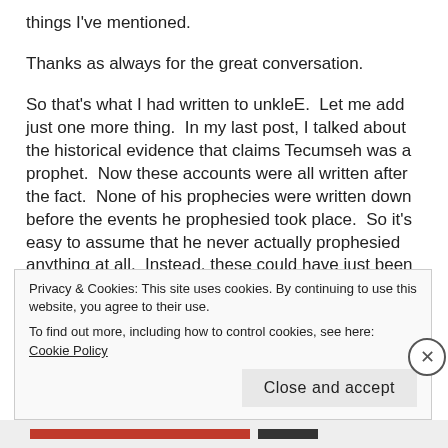things I've mentioned.
Thanks as always for the great conversation.
So that's what I had written to unkleE.  Let me add just one more thing.  In my last post, I talked about the historical evidence that claims Tecumseh was a prophet.  Now these accounts were all written after the fact.  None of his prophecies were written down before the events he prophesied took place.  So it's easy to assume that he never actually prophesied anything at all.  Instead, these could have just been
Privacy & Cookies: This site uses cookies. By continuing to use this website, you agree to their use.
To find out more, including how to control cookies, see here: Cookie Policy